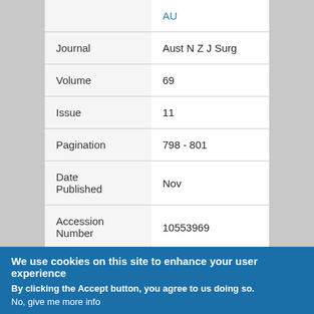| Field | Value |
| --- | --- |
|  | AU |
| Journal | Aust N Z J Surg |
| Volume | 69 |
| Issue | 11 |
| Pagination | 798 - 801 |
| Date Published | Nov |
| Accession Number | 10553969 |
We use cookies on this site to enhance your user experience
By clicking the Accept button, you agree to us doing so.
No, give me more info